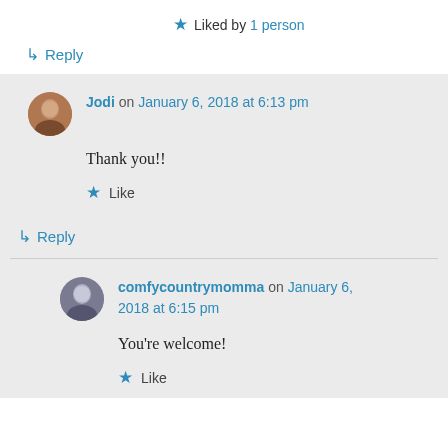★ Liked by 1 person
↳ Reply
Jodi on January 6, 2018 at 6:13 pm
Thank you!!
★ Like
↳ Reply
comfycountrymomma on January 6, 2018 at 6:15 pm
You're welcome!
★ Like